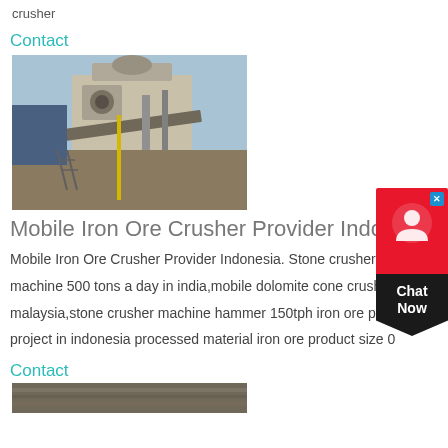crusher
Contact
[Figure (photo): Industrial mobile iron ore crusher machine at a processing site outdoors]
Mobile Iron Ore Crusher Provider Indonesia
Mobile Iron Ore Crusher Provider Indonesia. Stone crusher small machine 500 tons a day in india,mobile dolomite cone crusher price malaysia,stone crusher machine hammer 150tph iron ore processing project in indonesia processed material iron ore product size 0
Contact
[Figure (photo): Ground-level photo of crushed ore or gravel material]